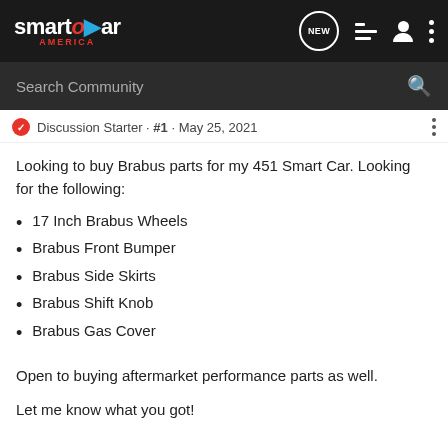[Figure (screenshot): Smart Car America website header with logo and navigation icons]
[Figure (screenshot): Search Community search bar]
Discussion Starter · #1 · May 25, 2021
Looking to buy Brabus parts for my 451 Smart Car. Looking for the following:
17 Inch Brabus Wheels
Brabus Front Bumper
Brabus Side Skirts
Brabus Shift Knob
Brabus Gas Cover
Open to buying aftermarket performance parts as well.
Let me know what you got!